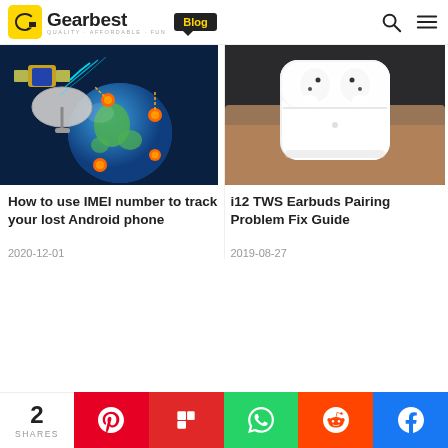Gearbest Blog — QUALITY · AFFORDABLE · FUN
[Figure (photo): Satellite dish with globe and smartphone illustration, tracking concept image]
How to use IMEI number to track your lost Android phone
2020-12-01
[Figure (photo): White i12 TWS wireless earbuds in charging case held by a hand, dark background]
i12 TWS Earbuds Pairing Problem Fix Guide
2019-08-27
2 SHARES — Pinterest, Flipboard, WhatsApp, Reddit, Facebook